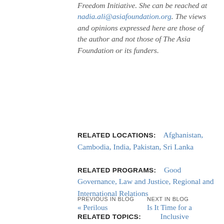Freedom Initiative. She can be reached at nadia.ali@asiafoundation.org. The views and opinions expressed here are those of the author and not those of The Asia Foundation or its funders.
RELATED LOCATIONS: Afghanistan, Cambodia, India, Pakistan, Sri Lanka RELATED PROGRAMS: Good Governance, Law and Justice, Regional and International Relations RELATED TOPICS: Inclusive Development, Religious Conflict, Social Inclusion
PREVIOUS IN BLOG « Perilous
NEXT IN BLOG Is It Time for a